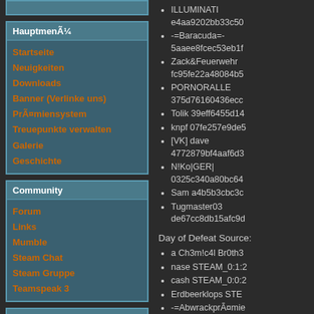HauptmenÃ¼
Startseite
Neuigkeiten
Downloads
Banner (Verlinke uns)
PrÃ¤miensystem
Treuepunkte verwalten
Galerie
Geschichte
Community
Forum
Links
Mumble
Steam Chat
Steam Gruppe
Teamspeak 3
Battlefield Serie
BF3 Mappool
BF4 Mappool
BF3 Punkbuster Bilder
Punkbuster Update
ILLUMINATI e4aa9202bb33c50...
-=Baracuda=- 5aaee8fcec53eb1f...
Zack&Feuerwehr fc95fe22a48084b5...
PORNORALLE 375d76160436ecc...
Tolik 39eff6455d14...
knpf 07fe257e9de5...
[VK] dave 4772879bf4aaf6d3...
N!Ko|GER| 0325c340a80bc64...
Sam a4b5b3cbc3c...
Tugmaster03 de67cc8db15afc9d...
Day of Defeat Source:
a Ch3m!c4l Br0th3...
nase STEAM_0:1:2...
cash STEAM_0:0:2...
Erdbeerklops STE...
-=AbwrackprÃ¤mie...
***DioS*** STEAM_...
gourm@T STEAM_...
ZweIch :D STEAM_...
Lescart STEAM_0:...
Setup.exe STEAM_...